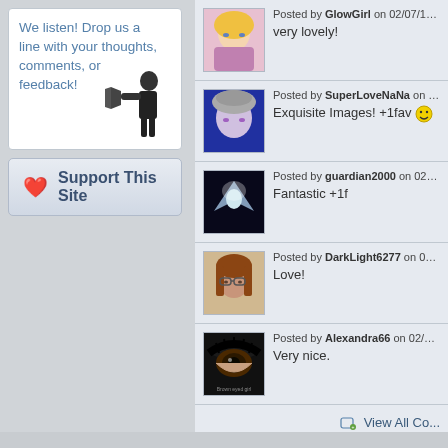We listen! Drop us a line with your thoughts, comments, or feedback!
Support This Site
Posted by GlowGirl on 02/07/15 at 08:18
very lovely!
Posted by SuperLoveNaNa on 02/06/15
Exquisite Images! +1fav
Posted by guardian2000 on 02/06/15 at
Fantastic +1f
Posted by DarkLight6277 on 02/06/15 a
Love!
Posted by Alexandra66 on 02/06/15 at 1
Very nice.
View All Co...